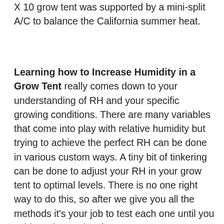X 10 grow tent was supported by a mini-split A/C to balance the California summer heat.
Learning how to Increase Humidity in a Grow Tent really comes down to your understanding of RH and your specific growing conditions. There are many variables that come into play with relative humidity but trying to achieve the perfect RH can be done in various custom ways. A tiny bit of tinkering can be done to adjust your RH in your grow tent to optimal levels. There is no one right way to do this, so after we give you all the methods it's your job to test each one until you achieve the RH levels